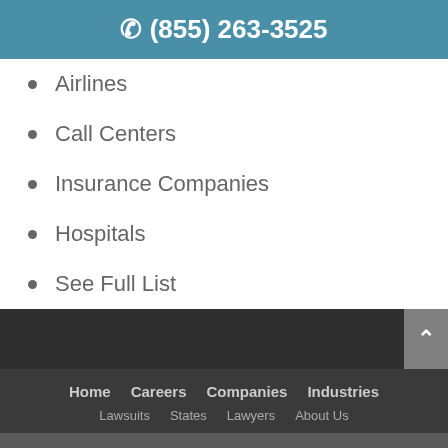(855) 263-3525
Airlines
Call Centers
Insurance Companies
Hospitals
See Full List
Home   Careers   Companies   Industries
Text Now For Free Case Review